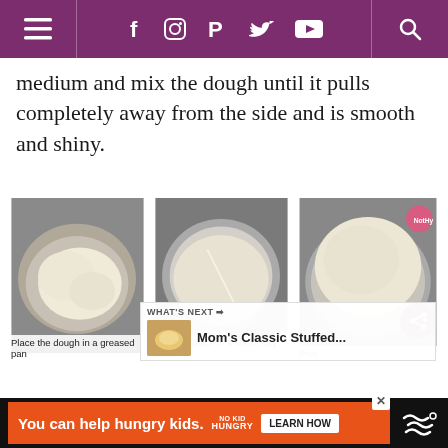Navigation bar with hamburger menu, social icons (Facebook, Instagram, Pinterest, Twitter, YouTube), and search icon
medium and mix the dough until it pulls completely away from the side and is smooth and shiny.
[Figure (photo): Three step-by-step photos of bread dough: (1) dough ball in metal mixing bowl labeled 'Place the dough in a greased pan', (2) flattened dough in greased metal pan labeled 'Cover & place in a warm, dry area', (3) risen dough filling pan labeled 'Proc...' (truncated). A share button and 'What's Next — Mom's Classic Stuffed...' overlay appear on the third image.]
You can help hungry kids. NO KID HUNGRY LEARN HOW [advertisement]